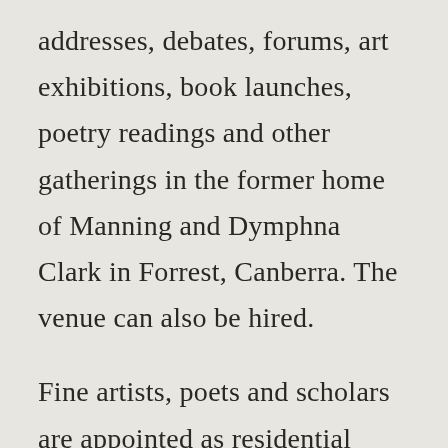addresses, debates, forums, art exhibitions, book launches, poetry readings and other gatherings in the former home of Manning and Dymphna Clark in Forrest, Canberra. The venue can also be hired.
Fine artists, poets and scholars are appointed as residential fellows either through winning one of our prizes or scholarships or on the basis of open